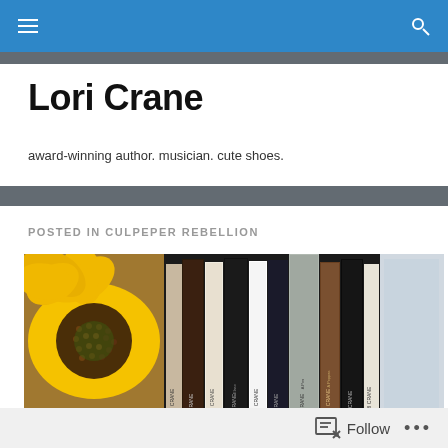Lori Crane
award-winning author. musician. cute shoes.
POSTED IN CULPEPER REBELLION
[Figure (photo): A bookshelf with multiple books by Lori Crane lined up next to a bright yellow sunflower]
Follow